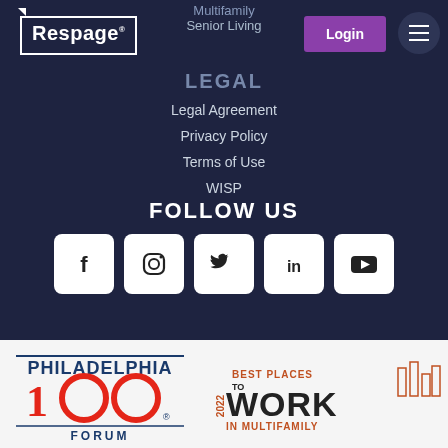[Figure (logo): Respage logo - white text in speech bubble box]
Multifamily
Senior Living
Login
LEGAL
Legal Agreement
Privacy Policy
Terms of Use
WISP
FOLLOW US
[Figure (infographic): Social media icons: Facebook, Instagram, Twitter, LinkedIn, YouTube]
[Figure (logo): Philadelphia 100 Forum badge]
[Figure (logo): 2022 Best Places to Work in Multifamily badge]